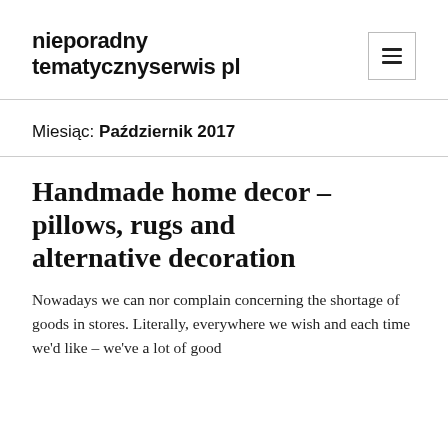nieporadny tematycznyserwis pl
Miesiąc: Październik 2017
Handmade home decor – pillows, rugs and alternative decoration
Nowadays we can nor complain concerning the shortage of goods in stores. Literally, everywhere we wish and each time we'd like – we've a lot of good